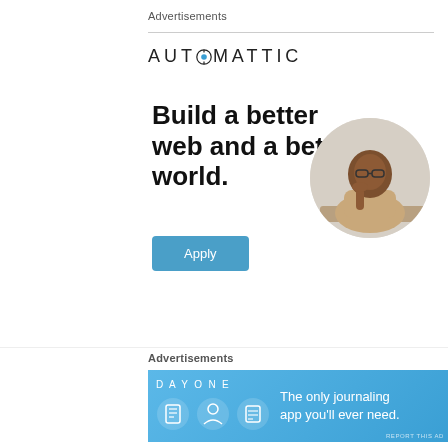Advertisements
[Figure (logo): Automattic company logo with stylized letter O icon and uppercase spaced text AUTOMATTIC]
[Figure (infographic): Automattic job ad: headline 'Build a better web and a better world.' with blue Apply button and circular photo of a man thinking at a desk]
REPORT THIS AD
Creating and funding government program based on skin colour is racist and should be
Advertisements
[Figure (infographic): Day One journaling app advertisement banner on blue background with icons and text: 'The only journaling app you'll ever need.']